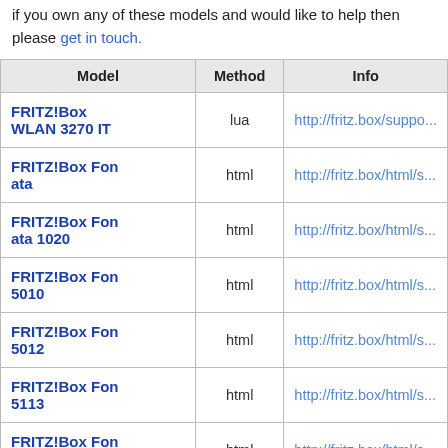if you own any of these models and would like to help then please get in touch.
| Model | Method | Info |
| --- | --- | --- |
| FRITZ!Box WLAN 3270 IT | lua | http://fritz.box/suppo... |
| FRITZ!Box Fon ata | html | http://fritz.box/html/s... |
| FRITZ!Box Fon ata 1020 | html | http://fritz.box/html/s... |
| FRITZ!Box Fon 5010 | html | http://fritz.box/html/s... |
| FRITZ!Box Fon 5012 | html | http://fritz.box/html/s... |
| FRITZ!Box Fon 5113 | html | http://fritz.box/html/s... |
| FRITZ!Box Fon WLAN 7113 INT | html | http://fritz.box/html/s... |
| FRITZ!Repeater 3000 AX | lua | http://fritz.repeater/s... |
| Speedport W 501V | telnet |  |